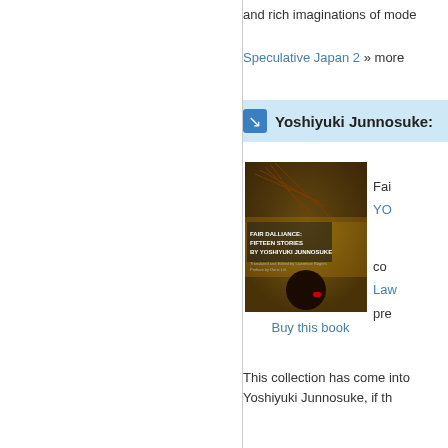and rich imaginations of mode
Speculative Japan 2 » more
Yoshiyuki Junnosuke:
[Figure (photo): Book cover of 'Fair Dalliance: Fifteen Stories by Yoshiyuki Junnosuke' showing a Japanese woman with black hair against a decorative background with fireworks]
Fair Dalliance:
YO
co
Law
pre
Buy this book
This collection has come into
Yoshiyuki Junnosuke, if th